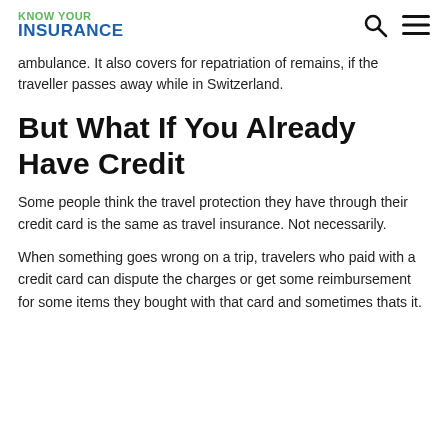KNOW YOUR INSURANCE
ambulance. It also covers for repatriation of remains, if the traveller passes away while in Switzerland.
But What If You Already Have Credit
Some people think the travel protection they have through their credit card is the same as travel insurance. Not necessarily.
When something goes wrong on a trip, travelers who paid with a credit card can dispute the charges or get some reimbursement for some items they bought with that card and sometimes thats it.